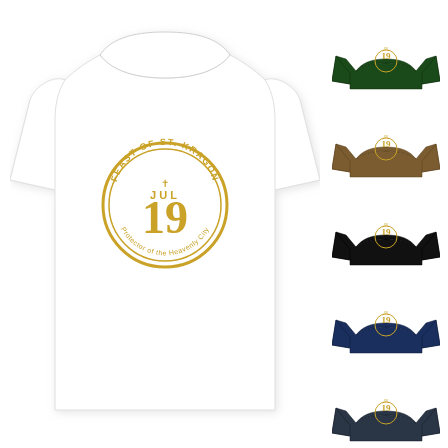[Figure (photo): Large white t-shirt with circular gold 'Feast of St. Kragon Jul 19' logo printed on chest]
[Figure (photo): Small thumbnail of dark green t-shirt with same circular gold logo]
[Figure (photo): Small thumbnail of brown/khaki t-shirt with same circular gold logo]
[Figure (photo): Small thumbnail of black t-shirt with same circular gold logo]
[Figure (photo): Small thumbnail of navy blue t-shirt with same circular gold logo]
[Figure (photo): Small thumbnail of dark navy/slate t-shirt with same circular gold logo]